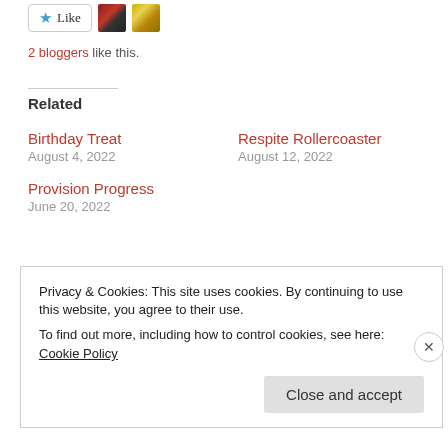[Figure (other): Like button with star icon and two blogger avatar thumbnails]
2 bloggers like this.
Related
Birthday Treat
August 4, 2022
Respite Rollercoaster
August 12, 2022
Provision Progress
June 20, 2022
Privacy & Cookies: This site uses cookies. By continuing to use this website, you agree to their use.
To find out more, including how to control cookies, see here: Cookie Policy